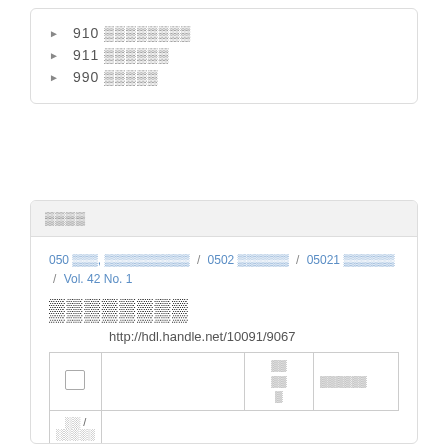910 ░░░░░░░░
911 ░░░░░░
990 ░░░░░
░░░░
050 ░░░, ░░░░░░░░░░ / 0502 ░░░░░░ / 05021 ░░░░░░ / Vol. 42 No. 1
░░░░░░░░
http://hdl.handle.net/10091/9067
|  | ░░ / ░░░░░ | ░░ ░░ ░ | ░░░░░░ |
| --- | --- | --- | --- |
| □ |  |  |  |
| □ | Shinshu_m |  |  |